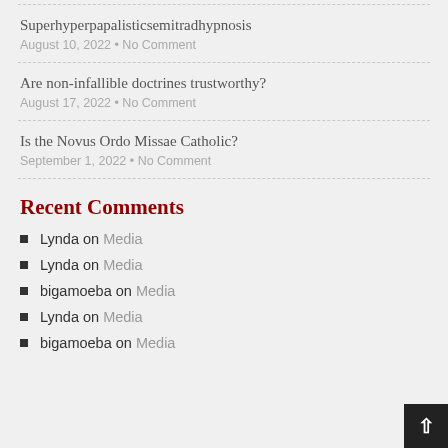Superhyperpapalisticsemitradhypnosis
August 10, 2022 • No Comment
Are non-infallible doctrines trustworthy?
August 17, 2022 • No Comment
Is the Novus Ordo Missae Catholic?
September 1, 2022 • No Comment
Recent Comments
Lynda on Media
Lynda on Media
bigamoeba on Media
Lynda on Media
bigamoeba on Media